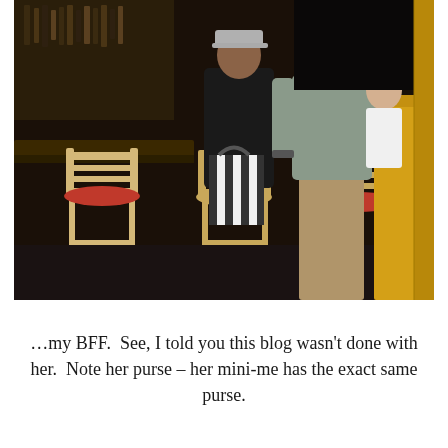[Figure (photo): Indoor bar scene with high bar stools (light wood with red seats), people standing near a bar counter. A woman in black wearing a cap holds a striped purse. A man in a grey shirt and khaki pants stands nearby. Yellow wooden booth dividers visible on the right.]
…my BFF.  See, I told you this blog wasn't done with her.  Note her purse – her mini-me has the exact same purse.